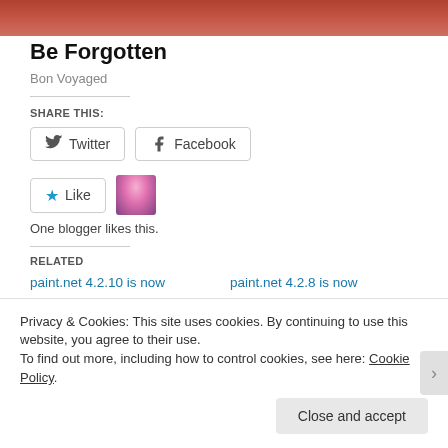[Figure (photo): Cropped top portion of a blog article image with orange/red tones]
Obsolete Boomer Skills That Should Be Forgotten
Bon Voyaged
SHARE THIS:
[Figure (illustration): Twitter share button with bird icon]
[Figure (illustration): Facebook share button with f icon]
[Figure (illustration): Like button with star icon and blogger avatar]
One blogger likes this.
RELATED
paint.net 4.2.10 is now
paint.net 4.2.8 is now
Privacy & Cookies: This site uses cookies. By continuing to use this website, you agree to their use.
To find out more, including how to control cookies, see here: Cookie Policy
Close and accept